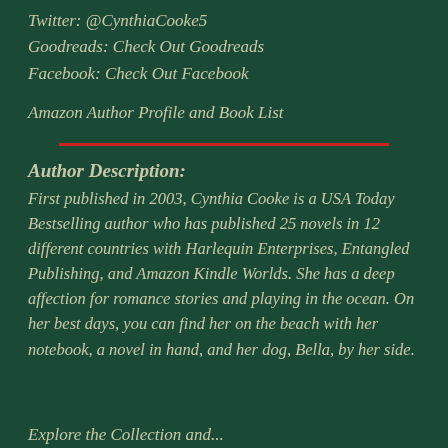Twitter: @CynthiaCooke5
Goodreads: Check Out Goodreads
Facebook: Check Out Facebook
Amazon Author Profile and Book List
Author Description:
First published in 2003, Cynthia Cooke is a USA Today Bestselling author who has published 25 novels in 12 different countries with Harlequin Enterprises, Entangled Publishing, and Amazon Kindle Worlds. She has a deep affection for romance stories and playing in the ocean. On her best days, you can find her on the beach with her notebook, a novel in hand, and her dog, Bella, by her side.
Explore the Collection and...